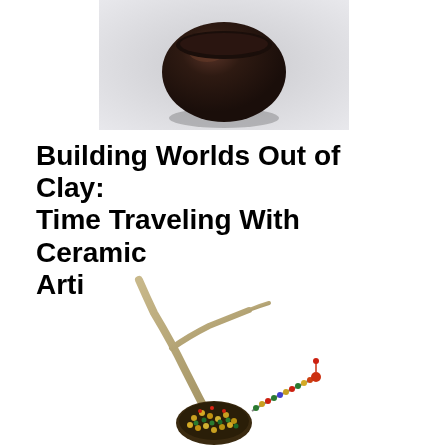[Figure (photo): A dark ceramic clay bowl or vessel photographed against a soft gray gradient background, shown from above/side angle. The object is dark brown/black with a rounded form.]
Building Worlds Out of Clay: Time Traveling With Ceramic Artist Jonathan Pacheco
[Figure (photo): A sculptural artwork featuring a deer antler with colorful beadwork at its base, creating a mixed-media ceramic/beaded sculpture on a white background. The beadwork includes green, red, gold, and multicolored patterns.]